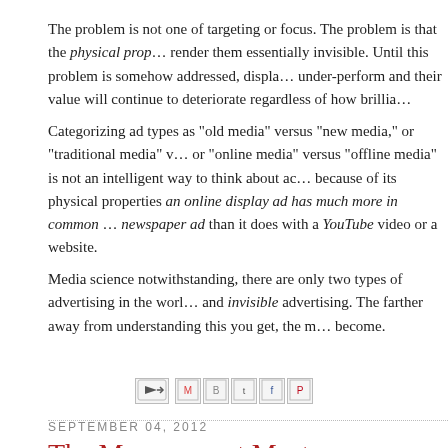The problem is not one of targeting or focus. The problem is that the physical prop… render them essentially invisible. Until this problem is somehow addressed, displa… under-perform and their value will continue to deteriorate regardless of how brillia…
Categorizing ad types as "old media" versus "new media," or "traditional media" v… or "online media" versus "offline media" is not an intelligent way to think about ac… because of its physical properties an online display ad has much more in common … newspaper ad than it does with a YouTube video or a website.
Media science notwithstanding, there are only two types of advertising in the worl… and invisible advertising. The farther away from understanding this you get, the m… become.
[Figure (infographic): Share/forward icons row: email forward arrow icon, Gmail icon, Blogger icon, Twitter icon, Facebook icon, Pinterest icon]
SEPTEMBER 04, 2012
The Management Mystery
Since yesterday was Labor Day, and I'm supposed to be a contrarian, I thought I'd…